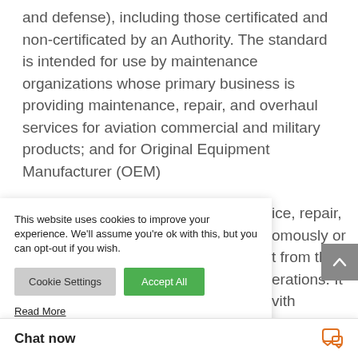and defense), including those certificated and non-certificated by an Authority. The standard is intended for use by maintenance organizations whose primary business is providing maintenance, repair, and overhaul services for aviation commercial and military products; and for Original Equipment Manufacturer (OEM) ...ce, repair, ...omously or ...t from their ...erations. It ...vith ...IAA) repair ...provide ma...
This website uses cookies to improve your experience. We'll assume you're ok with this, but you can opt-out if you wish.
Cookie Settings
Accept All
Read More
Chat now